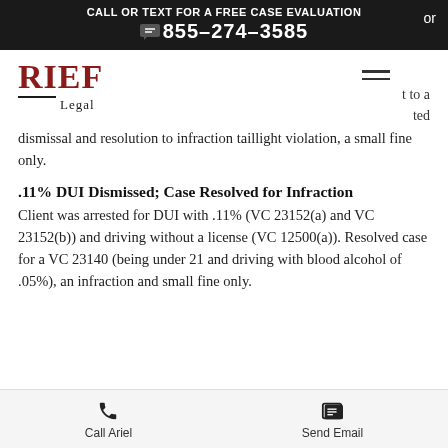CALL OR TEXT FOR A FREE CASE EVALUATION 855-274-3585
[Figure (logo): RIEF Legal logo with red bold RIEF text and horizontal rule above Legal]
t to a ted dismissal and resolution to infraction taillight violation, a small fine only.
.11% DUI Dismissed; Case Resolved for Infraction
Client was arrested for DUI with .11% (VC 23152(a) and VC 23152(b)) and driving without a license (VC 12500(a)). Resolved case for a VC 23140 (being under 21 and driving with blood alcohol of .05%), an infraction and small fine only.
Call Ariel | Send Email